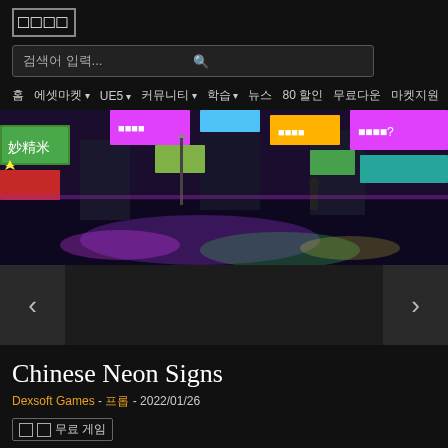□□□□
검색어 입력...
홈   에셋마켓▾   UE5▾   커뮤니티▾   학습▾   뉴스   80 할인   무료다운   마켓지원
[Figure (photo): Neon cyberpunk Chinese street scene with colorful neon signs reflected on wet pavement, dark night setting]
Chinese Neon Signs
Dexsoft Games - 프롭 - 2022/01/26
무료 게임
Elevate your game levels, city and street scenes with our new collection of 80 neon signs in Chinese language, ready to be used as decorative props in your levels.